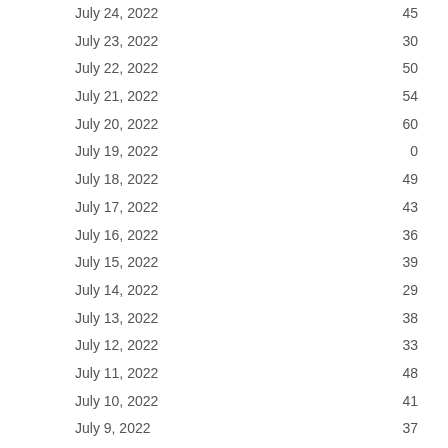| Date | Value |
| --- | --- |
| July 24, 2022 | 45 |
| July 23, 2022 | 30 |
| July 22, 2022 | 50 |
| July 21, 2022 | 54 |
| July 20, 2022 | 60 |
| July 19, 2022 | 0 |
| July 18, 2022 | 49 |
| July 17, 2022 | 43 |
| July 16, 2022 | 36 |
| July 15, 2022 | 39 |
| July 14, 2022 | 29 |
| July 13, 2022 | 38 |
| July 12, 2022 | 33 |
| July 11, 2022 | 48 |
| July 10, 2022 | 41 |
| July 9, 2022 | 37 |
| July 8, 2022 | 47 |
| July 7, 2022 | 48 |
| July 6, 2022 | 43 |
| July 5, 2022 | 63 |
| July 4, 2022 | 43 |
| July 3, 2022 | 36 |
| July 2, 2022 | 36 |